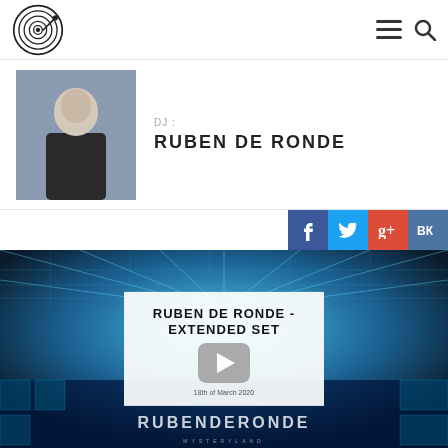DJ logo header with navigation icons
DJ:
RUBEN DE RONDE
[Figure (screenshot): Social share buttons: Facebook (blue), Twitter (light blue), Google+ (red), VK (blue)]
[Figure (photo): Video thumbnail showing Ruben de Ronde extended set at Mysteryland stage with blue laser lights. Overlay shows white card with text 'RUBEN DE RONDE - EXTENDED SET' and a play button, dated 18th of March 2020. Bottom shows 'RUBENDERONDE' text lit on stage.]